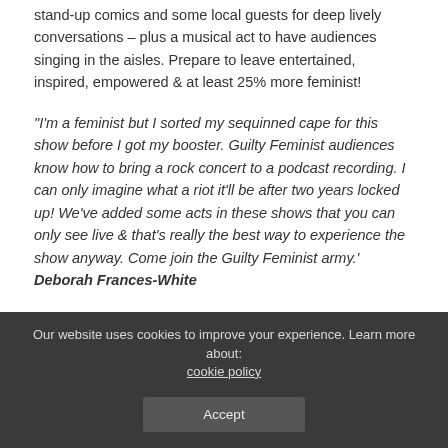stand-up comics and some local guests for deep lively conversations – plus a musical act to have audiences singing in the aisles. Prepare to leave entertained, inspired, empowered & at least 25% more feminist!
"I'm a feminist but I sorted my sequinned cape for this show before I got my booster. Guilty Feminist audiences know how to bring a rock concert to a podcast recording. I can only imagine what a riot it'll be after two years locked up! We've added some acts in these shows that you can only see live & that's really the best way to experience the show anyway. Come join the Guilty Feminist army.' Deborah Frances-White
Deborah Frances-White is a comedian, podcaster, and writer. She has toured the show around the world including a sell-
Our website uses cookies to improve your experience. Learn more about: cookie policy
Accept